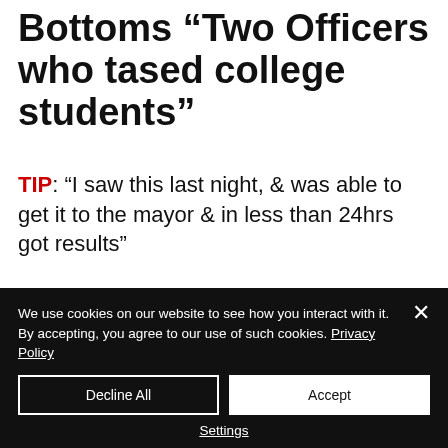Bottoms "Two Officers who tased college students"
TIP: “I saw this last night, & was able to get it to the mayor & in less than 24hrs got results”
[Figure (photo): Composite photo of two people: left side shows a man wearing glasses against a golden decorative background with text 'RFASTER', right side shows a woman against a dark blue background.]
We use cookies on our website to see how you interact with it. By accepting, you agree to our use of such cookies. Privacy Policy
Decline All
Accept
Settings